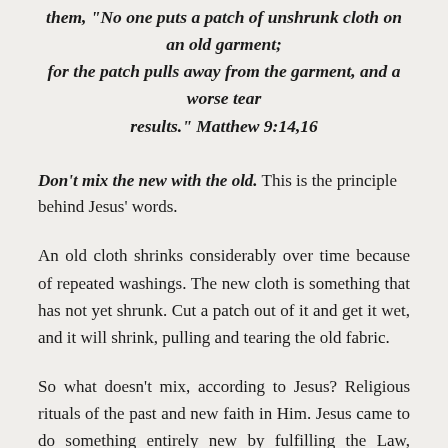them, "No one puts a patch of unshrunk cloth on an old garment; for the patch pulls away from the garment, and a worse tear results." Matthew 9:14,16
Don't mix the new with the old. This is the principle behind Jesus' words.
An old cloth shrinks considerably over time because of repeated washings. The new cloth is something that has not yet shrunk. Cut a patch out of it and get it wet, and it will shrink, pulling and tearing the old fabric.
So what doesn't mix, according to Jesus? Religious rituals of the past and new faith in Him. Jesus came to do something entirely new by fulfilling the Law, something we couldn't do with a pile of good works. The Law was meant to show us that we couldn't keep it. It was not